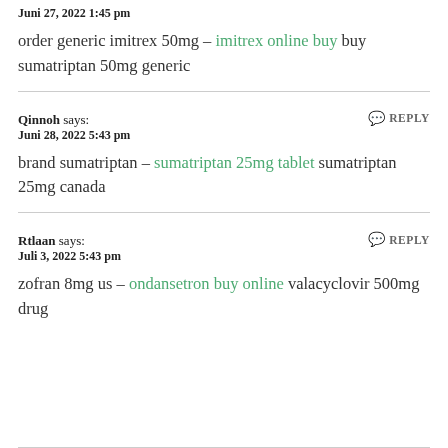Juni 27, 2022 1:45 pm
order generic imitrex 50mg – imitrex online buy buy sumatriptan 50mg generic
Qinnoh says:
Juni 28, 2022 5:43 pm
REPLY
brand sumatriptan – sumatriptan 25mg tablet sumatriptan 25mg canada
Rtlaan says:
Juli 3, 2022 5:43 pm
REPLY
zofran 8mg us – ondansetron buy online valacyclovir 500mg drug